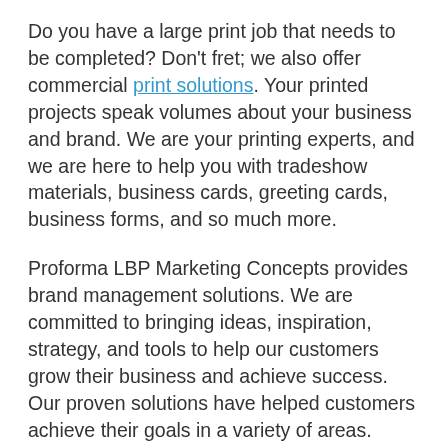Do you have a large print job that needs to be completed? Don't fret; we also offer commercial print solutions. Your printed projects speak volumes about your business and brand. We are your printing experts, and we are here to help you with tradeshow materials, business cards, greeting cards, business forms, and so much more.
Proforma LBP Marketing Concepts provides brand management solutions. We are committed to bringing ideas, inspiration, strategy, and tools to help our customers grow their business and achieve success. Our proven solutions have helped customers achieve their goals in a variety of areas. Because we offer the broadest array of printing, promotional products, and related graphic products and solutions.
If you are looking for a digital marketing expert to help you manage your brand with confidence, call us at (570) 869-1105. Proforma LBP Marketing Concepts, offers a wide range of options to satisfy your marketing needs. We provide no-charge consultations to examine your business needs and make recommendations that will